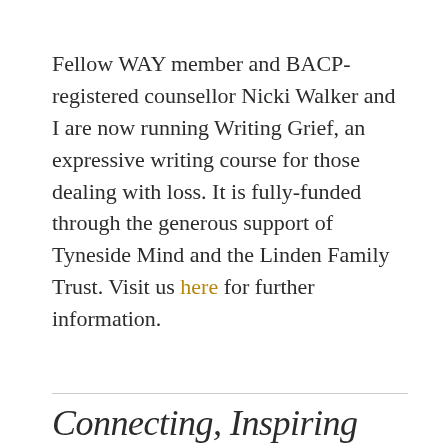Fellow WAY member and BACP-registered counsellor Nicki Walker and I are now running Writing Grief, an expressive writing course for those dealing with loss. It is fully-funded through the generous support of Tyneside Mind and the Linden Family Trust. Visit us here for further information.
Connecting, Inspiring